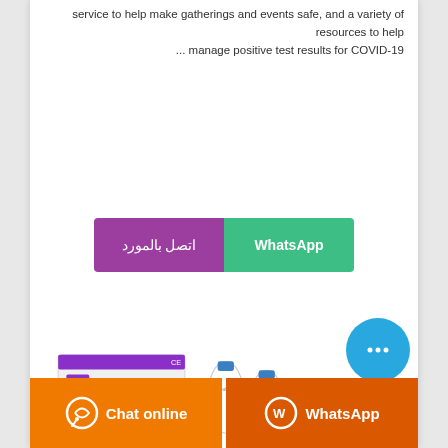service to help make gatherings and events safe, and a variety of resources to help ... manage positive test results for COVID-19
[Figure (screenshot): Two-part button: purple section with Arabic text 'اتصل بالمورد' and green section with 'WhatsApp']
[Figure (photo): Nucleic Acid Extraction Kit product box with reagent vials/tubes]
[Figure (screenshot): Blue circular chat bubble icon with three dots]
[Figure (screenshot): Bottom bar with orange 'Chat online' button and dark orange 'WhatsApp' button]